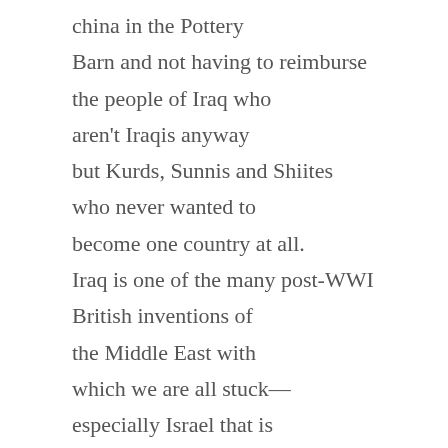china in the Pottery Barn and not having to reimburse the people of Iraq who aren't Iraqis anyway but Kurds, Sunnis and Shiites who never wanted to become one country at all. Iraq is one of the many post-WWI British inventions of the Middle East with which we are all stuck—especially Israel that is surrounded by British inventions like Syria, Lebanon, Jordon and Gaza. Israel is also a British invention (see the Balfour Declaration), but at least it was putatively formed as a country of unified people—putatively. Now it too is